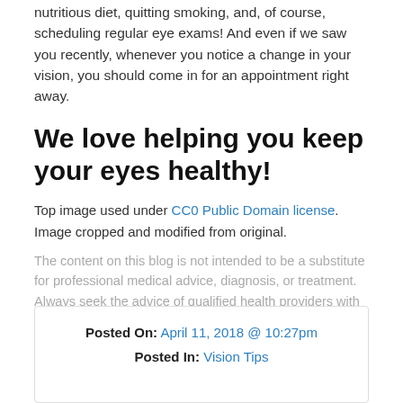nutritious diet, quitting smoking, and, of course, scheduling regular eye exams! And even if we saw you recently, whenever you notice a change in your vision, you should come in for an appointment right away.
We love helping you keep your eyes healthy!
Top image used under CC0 Public Domain license. Image cropped and modified from original.
The content on this blog is not intended to be a substitute for professional medical advice, diagnosis, or treatment. Always seek the advice of qualified health providers with questions you may have regarding medical conditions.
Posted On: April 11, 2018 @ 10:27pm
Posted In: Vision Tips